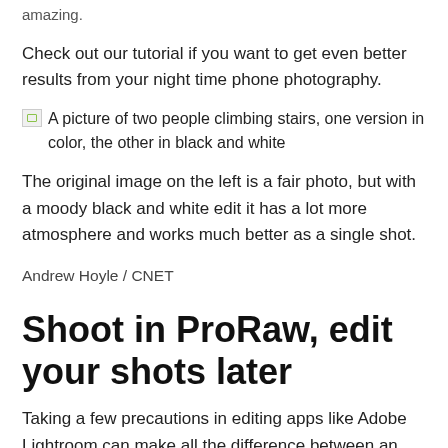amazing.
Check out our tutorial if you want to get even better results from your night time phone photography.
[Figure (photo): A picture of two people climbing stairs, one version in color, the other in black and white]
The original image on the left is a fair photo, but with a moody black and white edit it has a lot more atmosphere and works much better as a single shot.
Andrew Hoyle / CNET
Shoot in ProRaw, edit your shots later
Taking a few precautions in editing apps like Adobe Lightroom can make all the difference between an